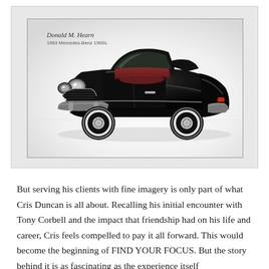[Figure (photo): Photograph of a classic black 1963 Mercedes-Benz 190SL convertible sports car with red interior, photographed in a studio setting against a white background. The car faces left-front three-quarter view. A handwritten signature and text '1963 Mercedes-Benz 190SL' appear in the upper-left of the image. The photo is presented within a light gray bordered outer frame.]
But serving his clients with fine imagery is only part of what Cris Duncan is all about. Recalling his initial encounter with Tony Corbell and the impact that friendship had on his life and career, Cris feels compelled to pay it all forward. This would become the beginning of FIND YOUR FOCUS. But the story behind it is as fascinating as the experience itself